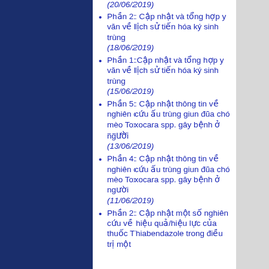(20/06/2019)
Phần 2: Cập nhật và tổng hợp y văn về lịch sử tiến hóa ký sinh trùng (18/06/2019)
Phần 1:Cập nhật và tổng hợp y văn về lịch sử tiến hóa ký sinh trùng (15/06/2019)
Phần 5: Cập nhật thông tin về nghiên cứu ấu trùng giun đũa chó mèo Toxocara spp. gây bệnh ở người (13/06/2019)
Phần 4: Cập nhật thông tin về nghiên cứu ấu trùng giun đũa chó mèo Toxocara spp. gây bệnh ở người (11/06/2019)
Phần 2: Cập nhật một số nghiên cứu về hiệu quả/hiệu lực của thuốc Thiabendazole trong điều trị một...